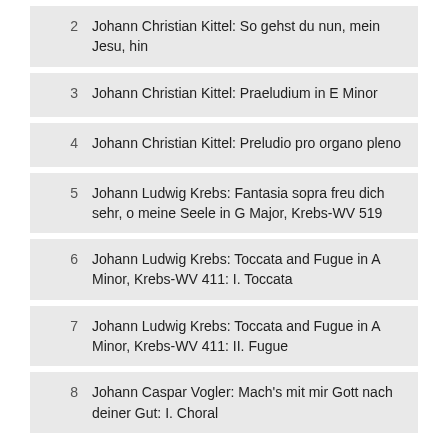2  Johann Christian Kittel: So gehst du nun, mein Jesu, hin
3  Johann Christian Kittel: Praeludium in E Minor
4  Johann Christian Kittel: Preludio pro organo pleno
5  Johann Ludwig Krebs: Fantasia sopra freu dich sehr, o meine Seele in G Major, Krebs-WV 519
6  Johann Ludwig Krebs: Toccata and Fugue in A Minor, Krebs-WV 411: I. Toccata
7  Johann Ludwig Krebs: Toccata and Fugue in A Minor, Krebs-WV 411: II. Fugue
8  Johann Caspar Vogler: Mach's mit mir Gott nach deiner Gut: I. Choral